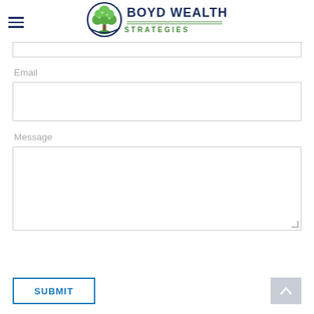[Figure (logo): Boyd Wealth Strategies logo with tree icon and text]
Email
Message
SUBMIT